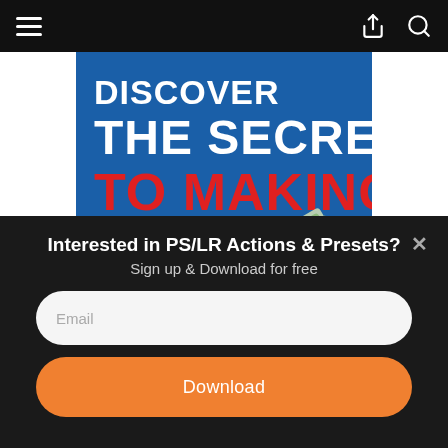Navigation bar with hamburger menu, share icon, and search icon
[Figure (illustration): Book cover image with blue background, bold white text 'THE SECRETS', red text 'TO MAKING MONEY ONLINE', with a red arrow and rolled dollar bills graphic]
Interested in PS/LR Actions & Presets?
Sign up & Download for free
Email
Download